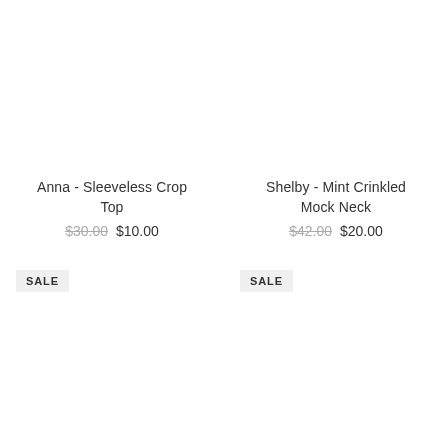Anna - Sleeveless Crop Top
$30.00  $10.00
SALE
Shelby - Mint Crinkled Mock Neck
$42.00  $20.00
SALE
Tori - Halter Crop Top
$45.00  $15.00
Kell - Pearl V-Neck Tank
$22.00  $10.00